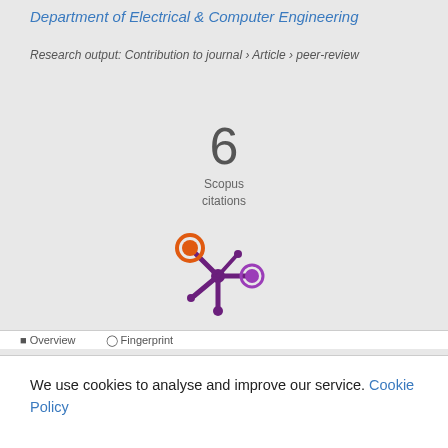Department of Electrical & Computer Engineering
Research output: Contribution to journal › Article › peer-review
6
Scopus
citations
[Figure (logo): Altmetric/Scopus snowflake logo with orange and purple circles]
We use cookies to analyse and improve our service. Cookie Policy